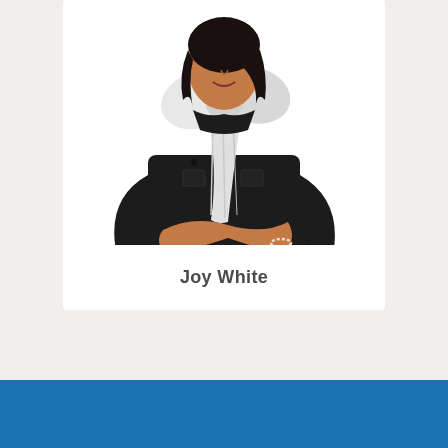[Figure (photo): Professional portrait photo of Joy White, a woman wearing a black jacket with a large white bow/scarf at the neck, arms crossed, looking at the camera.]
Joy White